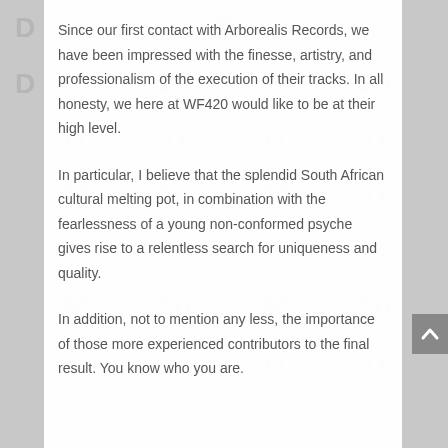Since our first contact with Arborealis Records, we have been impressed with the finesse, artistry, and professionalism of the execution of their tracks. In all honesty, we here at WF420 would like to be at their high level.
In particular, I believe that the splendid South African cultural melting pot, in combination with the fearlessness of a young non-conformed psyche gives rise to a relentless search for uniqueness and quality.
In addition, not to mention any less, the importance of those more experienced contributors to the final result. You know who you are.